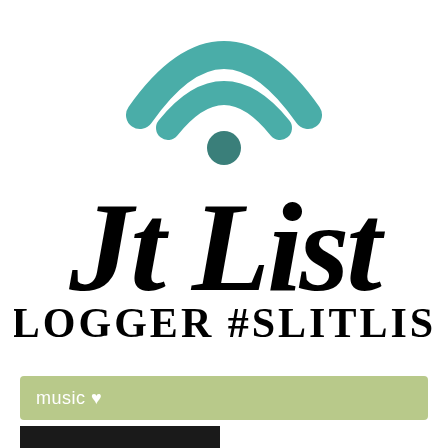[Figure (logo): Jt List blogger logo with teal/green WiFi signal icon on top, large italic script text 'Jt List' below, then 'BLOGGER #SLITLIST' in bold serif, and a sage green 'music ♥' bar at the bottom]